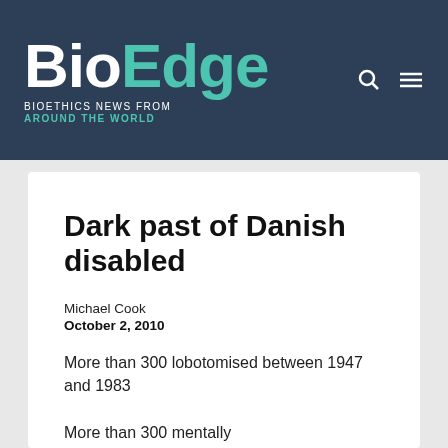BioEdge — BIOETHICS NEWS FROM AROUND THE WORLD
Dark past of Danish disabled
Michael Cook
October 2, 2010
More than 300 lobotomised between 1947 and 1983
More than 300 mentally